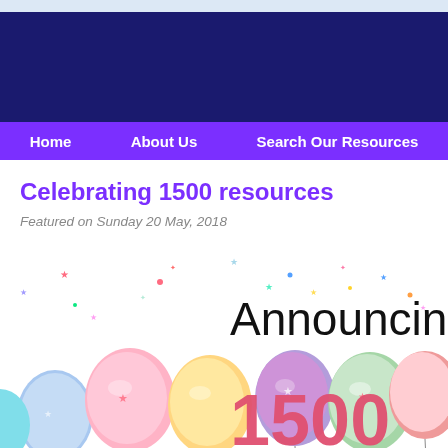Home | About Us | Search Our Resources
Celebrating 1500 resources
Featured on Sunday 20 May, 2018
[Figure (illustration): Celebration graphic with colorful balloons and large text reading 'Announcing 1500']